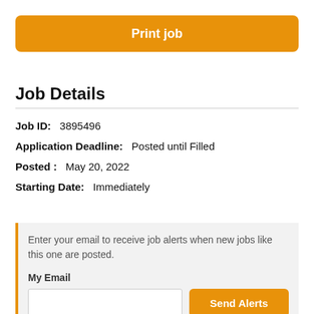Print job
Job Details
Job ID:   3895496
Application Deadline:   Posted until Filled
Posted :   May 20, 2022
Starting Date:   Immediately
Enter your email to receive job alerts when new jobs like this one are posted.
My Email
Send Alerts